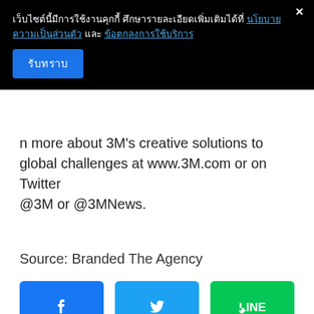เว็บไซต์นี้มีการใช้งานคุกกี้ ศึกษารายละเอียดเพิ่มเติมได้ที่ นโยบายความเป็นส่วนตัว และ ข้อตกลงการใช้บริการ
รับทราบ
n more about 3M's creative solutions to global challenges at www.3M.com or on Twitter @3M or @3MNews.
Source: Branded The Agency
[Figure (logo): Facebook share button (blue with white F icon), Twitter share button (light blue with white bird icon), LINE share button (green with white LINE logo)]
Branded The Agency